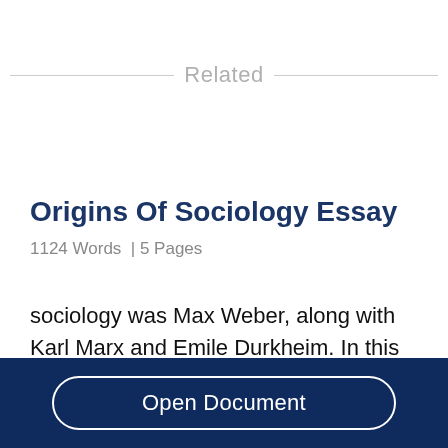Related
Origins Of Sociology Essay
1124 Words  | 5 Pages
sociology was Max Weber, along with Karl Marx and Emile Durkheim. In this essay I will be talking
Open Document